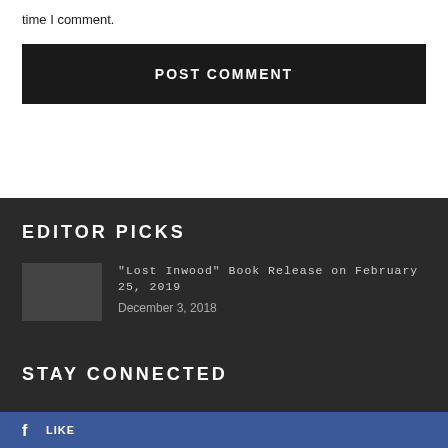time I comment.
POST COMMENT
EDITOR PICKS
"Lost Inwood" Book Release on February 25, 2019
December 3, 2018
STAY CONNECTED
LIKE